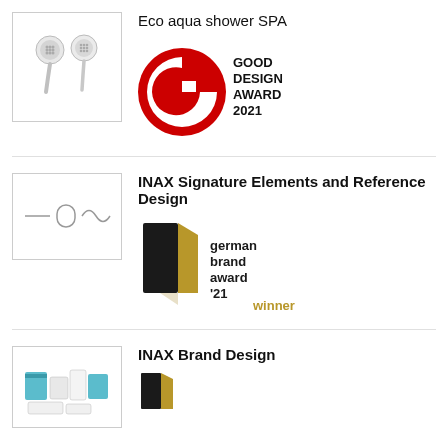[Figure (photo): Two handheld shower heads in white/chrome]
Eco aqua shower SPA
[Figure (logo): Good Design Award 2021 red logo]
[Figure (illustration): INAX Signature Elements design marks: line, oval, curve]
INAX Signature Elements and Reference Design
[Figure (logo): German Brand Award 21 winner gold/black logo]
[Figure (photo): INAX brand design products in teal and white packaging]
INAX Brand Design